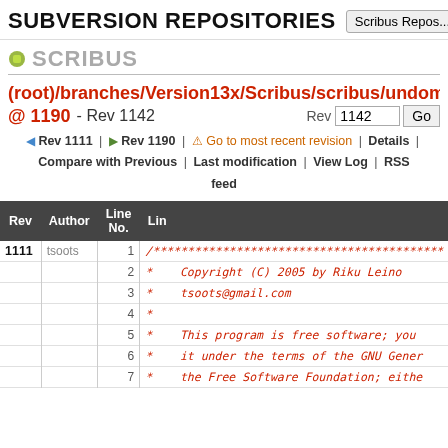SUBVERSION REPOSITORIES
SCRIBUS
(root)/branches/Version13x/Scribus/scribus/undoman @ 1190 - Rev 1142
Rev 1111 | Rev 1190 | Go to most recent revision | Details | Compare with Previous | Last modification | View Log | RSS feed
| Rev | Author | Line No. | Line |
| --- | --- | --- | --- |
| 1111 | tsoots | 1 | /****************************************** |
|  |  | 2 | *    Copyright (C) 2005 by Riku Leino |
|  |  | 3 | *    tsoots@gmail.com |
|  |  | 4 | * |
|  |  | 5 | *    This program is free software; you |
|  |  | 6 | *    it under the terms of the GNU Gener |
|  |  | 7 | *    the Free Software Foundation; eithe |